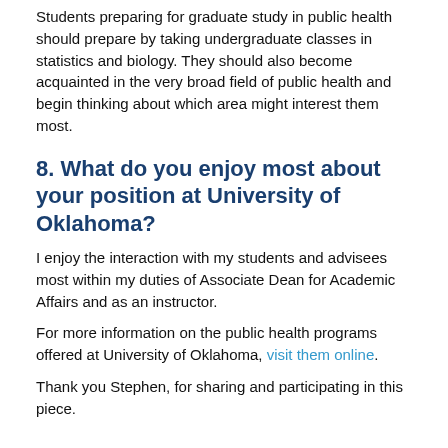Students preparing for graduate study in public health should prepare by taking undergraduate classes in statistics and biology. They should also become acquainted in the very broad field of public health and begin thinking about which area might interest them most.
8. What do you enjoy most about your position at University of Oklahoma?
I enjoy the interaction with my students and advisees most within my duties of Associate Dean for Academic Affairs and as an instructor.
For more information on the public health programs offered at University of Oklahoma, visit them online.
Thank you Stephen, for sharing and participating in this piece.